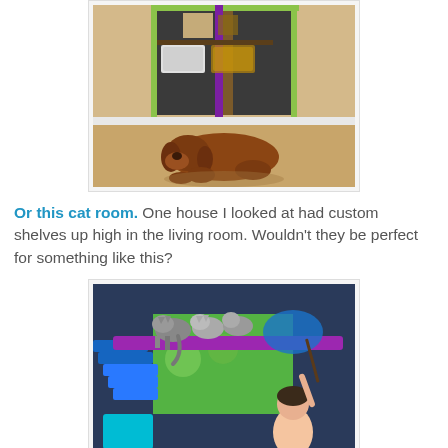[Figure (photo): A large brown dog lying on a hardwood floor in front of a colorful cabinet/armoire with green trim and purple accents, containing storage bins on shelves.]
Or this cat room. One house I looked at had custom shelves up high in the living room. Wouldn't they be perfect for something like this?
[Figure (photo): Cats walking on elevated purple shelving/ramps in a colorful cat room with blue stairs and decorative walls, a person reaching up to interact with the cats.]